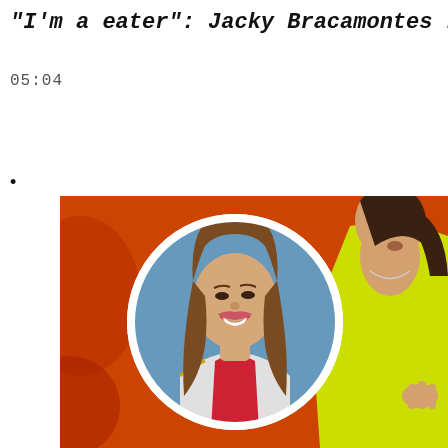“I’m a eater”: Jacky Bracamontes r
05:04
[Figure (photo): A TV show screenshot with an orange background. A young woman with long brown hair is shown in a circular inset in the center-left, smiling. She wears a white and red outfit. On the right side is another woman in a yellow outfit gesturing with her hand.]